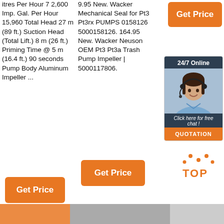itres Per Hour 7 2,600 Imp. Gal. Per Hour 15,960 Total Head 27 m (89 ft.) Suction Head (Total Lift.) 8 m (26 ft.) Priming Time @ 5 m (16.4 ft.) 90 seconds Pump Body Aluminum Impeller ...
9.95 New. Wacker Mechanical Seal for Pt3 Pt3rx PUMPS 0158126 5000158126. 164.95 New. Wacker Neuson OEM Pt3 Pt3a Trash Pump Impeller | 5000117806.
[Figure (other): Orange 'Get Price' button in top right corner]
[Figure (other): 24/7 Online chat widget with customer service representative photo and 'Click here for free chat!' text with QUOTATION button]
[Figure (other): Orange 'Get Price' button in middle area]
[Figure (other): Orange 'Get Price' button on left side]
[Figure (other): TOP logo with dotted arc above text]
[Figure (other): Bottom strip with orange, gray, and light gray sections]